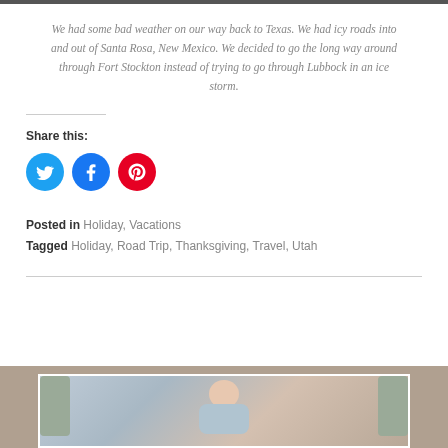We had some bad weather on our way back to Texas. We had icy roads into and out of Santa Rosa, New Mexico. We decided to go the long way around through Fort Stockton instead of trying to go through Lubbock in an ice storm.
Share this:
[Figure (other): Social sharing icons: Twitter (blue circle), Facebook (blue circle), Pinterest (red circle)]
Posted in Holiday, Vacations
Tagged Holiday, Road Trip, Thanksgiving, Travel, Utah
[Figure (photo): Photo of a baby lying down between two pillows, wearing a light blue outfit, with a white border frame]